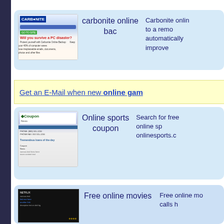[Figure (screenshot): Carbonite Online Backup website screenshot showing 'Will you survive a PC disaster?' promotional banner with navigation bar and green button]
carbonite online bac
Carbonite onlin to a remo automatically improve
Get an E-Mail when new online gam
[Figure (screenshot): CouponNews website screenshot showing coupon listings with phone numbers and loan offers]
Online sports coupon
Search for free online sp onlinesports.c
[Figure (screenshot): Free online movies website screenshot with dark background showing movie links]
Free online movies
Free online mo calls h